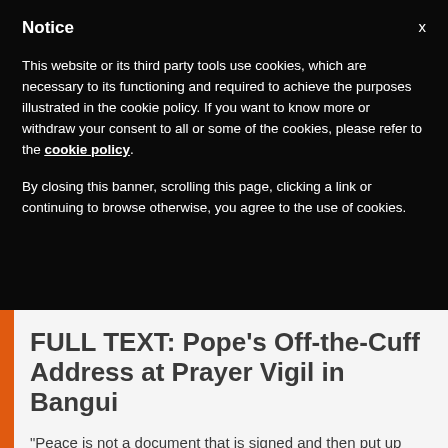Notice
This website or its third party tools use cookies, which are necessary to its functioning and required to achieve the purposes illustrated in the cookie policy. If you want to know more or withdraw your consent to all or some of the cookies, please refer to the cookie policy.
By closing this banner, scrolling this page, clicking a link or continuing to browse otherwise, you agree to the use of cookies.
FULL TEXT: Pope's Off-the-Cuff Address at Prayer Vigil in Bangui
“Peace is not a document that is signed and then put up some place. Peace is made each day. Peace